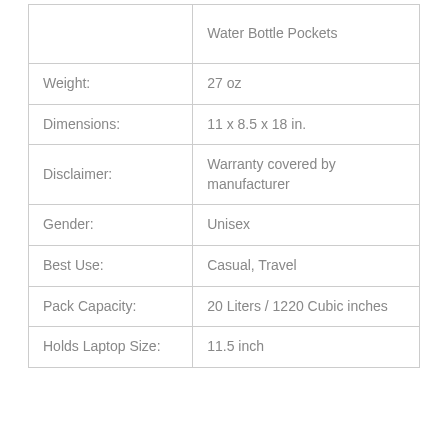|  |  |
| --- | --- |
|  | Water Bottle Pockets |
| Weight: | 27 oz |
| Dimensions: | 11 x 8.5 x 18 in. |
| Disclaimer: | Warranty covered by manufacturer |
| Gender: | Unisex |
| Best Use: | Casual, Travel |
| Pack Capacity: | 20 Liters / 1220 Cubic inches |
| Holds Laptop Size: | 11.5 inch |